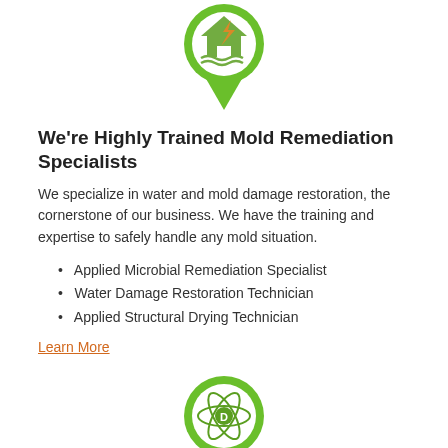[Figure (logo): Green map pin icon with a house/flood damage symbol inside a circular white badge]
We're Highly Trained Mold Remediation Specialists
We specialize in water and mold damage restoration, the cornerstone of our business. We have the training and expertise to safely handle any mold situation.
Applied Microbial Remediation Specialist
Water Damage Restoration Technician
Applied Structural Drying Technician
Learn More
[Figure (logo): Green map pin icon with an atom/science symbol and letter D inside a circular white badge]
We Use Advanced Mold Remediation